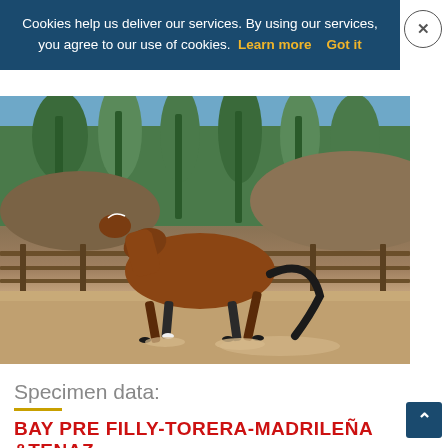Cookies help us deliver our services. By using our services, you agree to our use of cookies. Learn more  Got it
[Figure (photo): A bay horse trotting in an outdoor arena with trees and hills in the background]
Specimen data:
BAY PRE FILLY-TORERA-MADRILEÑA &TENAZ